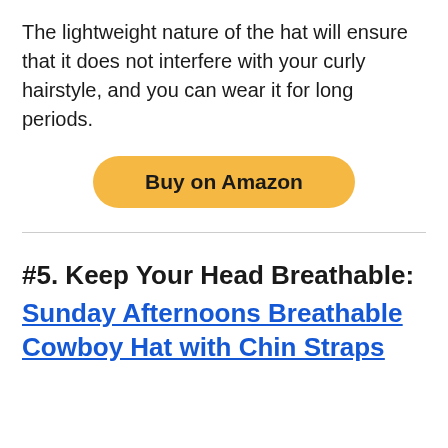The lightweight nature of the hat will ensure that it does not interfere with your curly hairstyle, and you can wear it for long periods.
[Figure (other): A rounded yellow/gold 'Buy on Amazon' button]
#5. Keep Your Head Breathable: Sunday Afternoons Breathable Cowboy Hat with Chin Straps